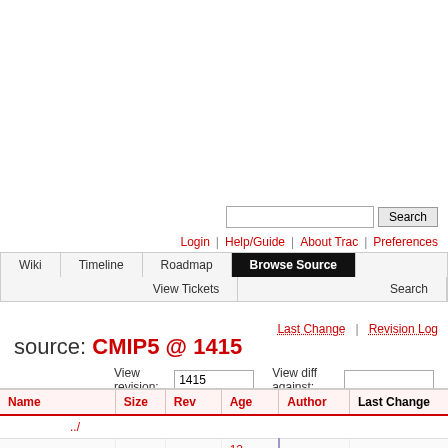source: CMIP5 @ 1415
View revision: 1415  View diff against:
| Name | Size | Rev | Age | Author | Last Change |
| --- | --- | --- | --- | --- | --- |
| ../ |  |  |  |  |  |
| 1pctCO2 |  | 1202 | 12 years | mafoipsl | v2.1pctCO2MR |
| abrupt4xCO2 |  | 1146 | 12 years | mafoipsl | Adapt TS option |
| amin |  | 1307 | 11 years | murat | v3.amin5 IPS |